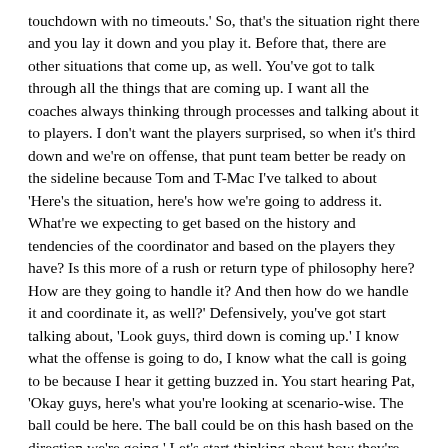touchdown with no timeouts.' So, that's the situation right there and you lay it down and you play it. Before that, there are other situations that come up, as well. You've got to talk through all the things that are coming up. I want all the coaches always thinking through processes and talking about it to players. I don't want the players surprised, so when it's third down and we're on offense, that punt team better be ready on the sideline because Tom and T-Mac I've talked to about 'Here's the situation, here's how we're going to address it. What're we expecting to get based on the history and tendencies of the coordinator and based on the players they have? Is this more of a rush or return type of philosophy here? How are they going to handle it? And then how do we handle it and coordinate it, as well?' Defensively, you've got start talking about, 'Look guys, third down is coming up.' I know what the offense is going to do, I know what the call is going to be because I hear it getting buzzed in. You start hearing Pat, 'Okay guys, here's what you're looking at scenario-wise. The ball could be here. The ball could be on this hash based on the direction we're going.' Let's start thinking about how they're going to call this game and what they're going to do. So, you always want to try and play ahead as much as you can.
Q: The only touchdown you scored was by a guy who had not had a reception in the NFL. That's a play you have to your tight ends, right? You just put the next guy in there so he gets that play?